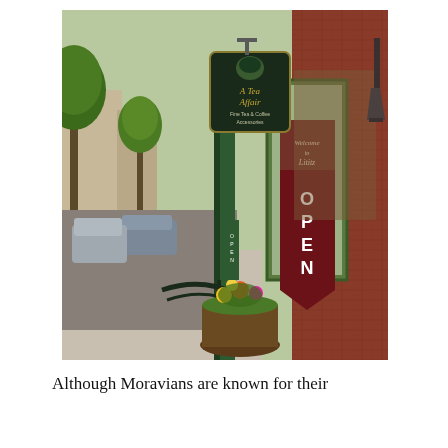[Figure (photo): Street-level photograph of a small-town main street in Lititz, PA. Red brick building on right with green-trimmed storefront. 'A Tea Affair' shop sign hangs overhead. A dark red vertical 'OPEN' banner and 'Welcome to Lititz' sign are visible in the window. Trees line the sidewalk on the left. A flower pot with colorful blooms sits near entry railings. Parked cars visible along the street.]
Although Moravians are known for their